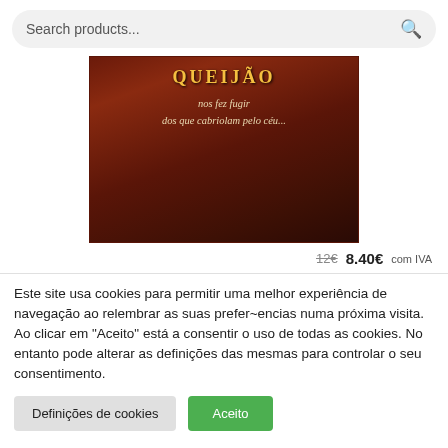Search products...
[Figure (illustration): Book or product cover image with dark reddish-brown background. Text reads 'QUEIJÃO' in golden letters at top, then 'nos fez fugir / dos que cabriolam pelo céu...' in light italic text below.]
12€  8.40€ com IVA
Este site usa cookies para permitir uma melhor experiência de navegação ao relembrar as suas prefer~encias numa próxima visita. Ao clicar em "Aceito" está a consentir o uso de todas as cookies. No entanto pode alterar as definições das mesmas para controlar o seu consentimento.
Definições de cookies
Aceito